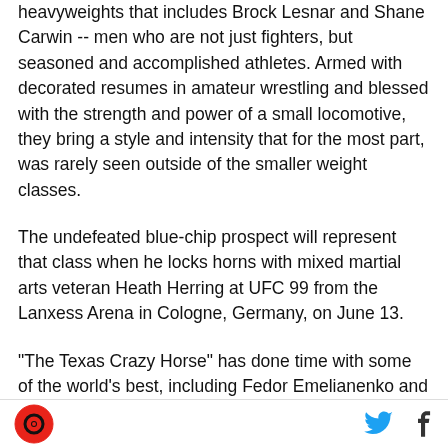heavyweights that includes Brock Lesnar and Shane Carwin -- men who are not just fighters, but seasoned and accomplished athletes. Armed with decorated resumes in amateur wrestling and blessed with the strength and power of a small locomotive, they bring a style and intensity that for the most part, was rarely seen outside of the smaller weight classes.
The undefeated blue-chip prospect will represent that class when he locks horns with mixed martial arts veteran Heath Herring at UFC 99 from the Lanxess Arena in Cologne, Germany, on June 13.
"The Texas Crazy Horse" has done time with some of the world's best, including Fedor Emelianenko and
logo and social media icons